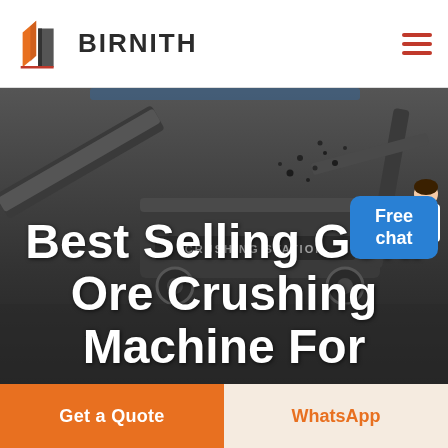[Figure (logo): Birnith company logo with orange and grey building/construction icon]
BIRNITH
[Figure (photo): Industrial gold ore crushing machine / mobile crushing station photographed outdoors with dark sky background, machinery with conveyor belts and large crushing equipment]
Best Selling Gold Ore Crushing Machine For
Free chat
Get a Quote
WhatsApp